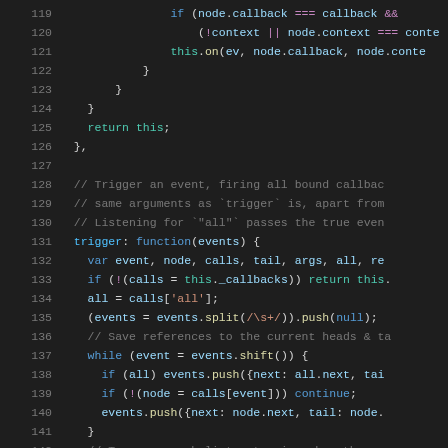[Figure (screenshot): JavaScript source code snippet showing lines 119-148 of a Backbone.js-style event system. The code shows an 'off' method returning 'this' and a 'trigger' method that fires bound callbacks. Syntax highlighting uses multiple colors on a dark background.]